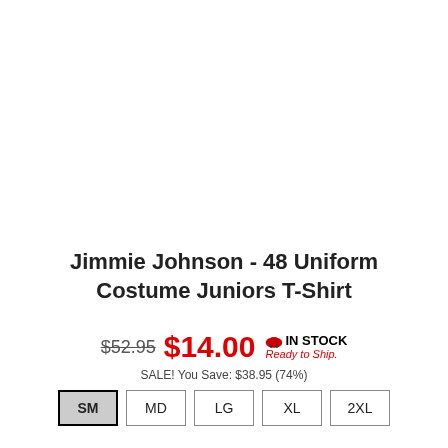Jimmie Johnson - 48 Uniform Costume Juniors T-Shirt
$52.95  $14.00  IN STOCK Ready to Ship.
SALE! You Save: $38.95 (74%)
SM
MD
LG
XL
2XL